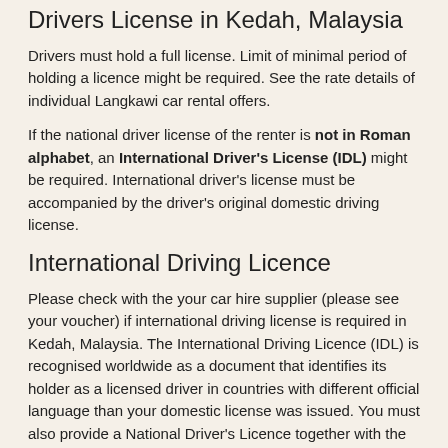Drivers License in Kedah, Malaysia
Drivers must hold a full license. Limit of minimal period of holding a licence might be required. See the rate details of individual Langkawi car rental offers.
If the national driver license of the renter is not in Roman alphabet, an International Driver's License (IDL) might be required. International driver's license must be accompanied by the driver's original domestic driving license.
International Driving Licence
Please check with the your car hire supplier (please see your voucher) if international driving license is required in Kedah, Malaysia. The International Driving Licence (IDL) is recognised worldwide as a document that identifies its holder as a licensed driver in countries with different official language than your domestic license was issued. You must also provide a National Driver's Licence together with the international licence, otherwise it may not be accepted.
Mileage limit